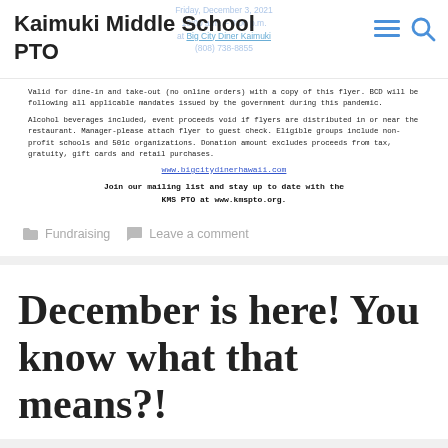Kaimuki Middle School PTO
[Figure (other): Watermark with event details: Friday, December 3, 2021, 10:00 a.m. - 8:00 p.m., at Big City Diner Kaimuki, (808) 738-8855]
Valid for dine-in and take-out (no online orders) with a copy of this flyer. BCD will be following all applicable mandates issued by the government during this pandemic.
Alcohol beverages included, event proceeds void if flyers are distributed in or near the restaurant. Manager-please attach flyer to guest check. Eligible groups include non-profit schools and 501c organizations. Donation amount excludes proceeds from tax, gratuity, gift cards and retail purchases.
www.bigcitydinerhawaii.com
Join our mailing list and stay up to date with the KMS PTO at www.kmspto.org.
Fundraising  Leave a comment
December is here! You know what that means?!